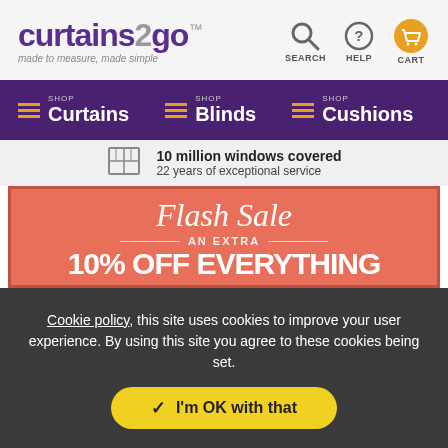[Figure (logo): curtains2go logo with tagline 'made to measure, made simple' and navigation icons for SEARCH, HELP, CART]
[Figure (infographic): Purple navigation bar with Curtains, Blinds, Cushions menu items with orange hamburger icons and SHOP labels]
10 million windows covered
22 years of exceptional service
[Figure (infographic): Flash Sale banner on salmon/coral background: 'Flash Sale AN EXTRA 10% OFF EVERYTHING']
Cookie policy, this site uses cookies to improve your user experience. By using this site you agree to these cookies being set.
I'm OK with that